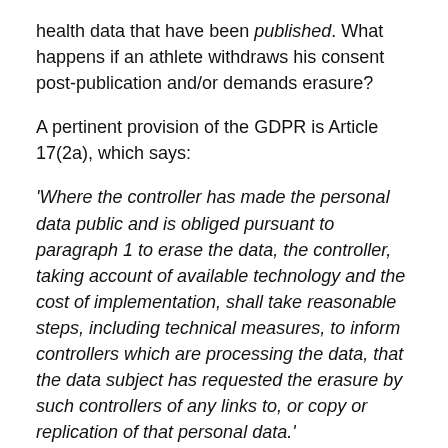health data that have been published. What happens if an athlete withdraws his consent post-publication and/or demands erasure?
A pertinent provision of the GDPR is Article 17(2a), which says:
'Where the controller has made the personal data public and is obliged pursuant to paragraph 1 to erase the data, the controller, taking account of available technology and the cost of implementation, shall take reasonable steps, including technical measures, to inform controllers which are processing the data, that the data subject has requested the erasure by such controllers of any links to, or copy or replication of that personal data.'
While this wording does impose a level of obligation on the